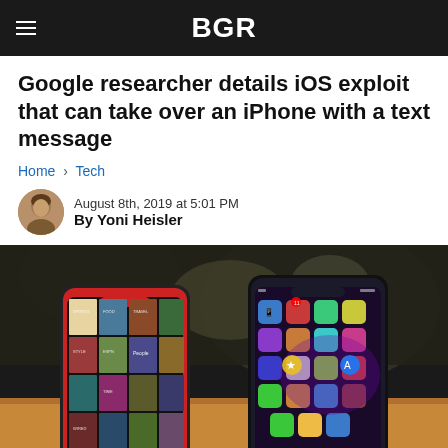BGR
Google researcher details iOS exploit that can take over an iPhone with a text message
Home › Tech
August 8th, 2019 at 5:01 PM
By Yoni Heisler
[Figure (photo): Two iPhones displayed on a wooden surface in an Apple Store; the left phone shows a colorful grid of magazine covers and the right shows the iOS home screen with app icons. People are blurred in the background.]